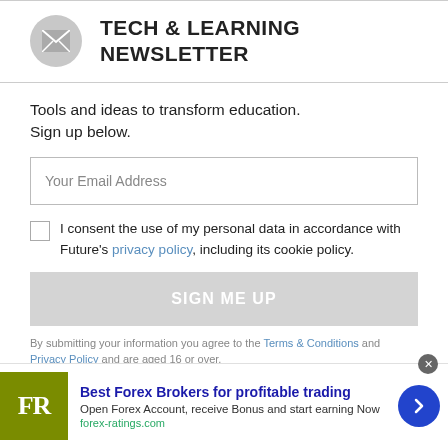TECH & LEARNING NEWSLETTER
Tools and ideas to transform education. Sign up below.
Your Email Address
I consent the use of my personal data in accordance with Future's privacy policy, including its cookie policy.
SIGN ME UP
By submitting your information you agree to the Terms & Conditions and Privacy Policy and are aged 16 or over.
[Figure (infographic): Advertisement banner: FR logo (olive green box), Best Forex Brokers for profitable trading headline, Open Forex Account receive Bonus and start earning Now text, forex-ratings.com domain, blue circular arrow button]